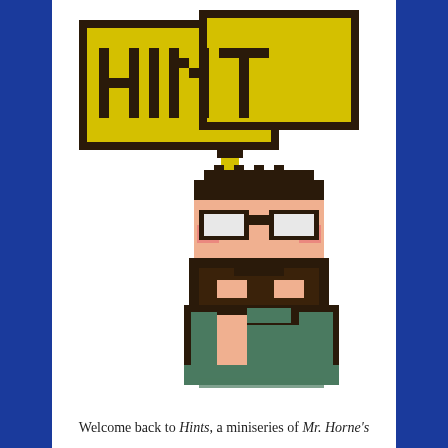[Figure (illustration): Pixel art illustration of a bearded man holding a sign that reads 'HINT' in pixel letters on a yellow speech bubble sign]
Welcome back to Hints, a miniseries of Mr. Horne's